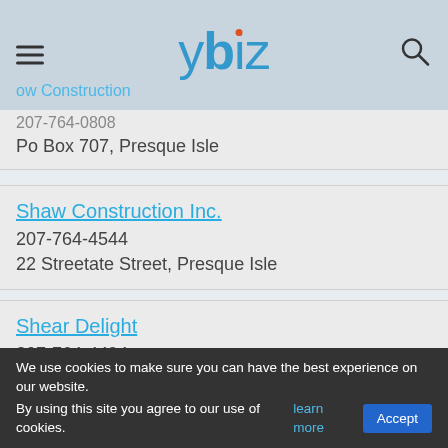ybiz - Snow Construction, Shaw Construction Inc., Shear Delight, Shirley's & Harold's
Snow Construction | 207-764-0808 | Po Box 707, Presque Isle
Shaw Construction Inc. | 207-764-4544 | 22 Streetate Street, Presque Isle
Shear Delight | 207-764-4494 | 694 Main Street, Presque Isle
Shirley's & Harold's | 9 Parsons Street, Presque Isle
We use cookies to make sure you can have the best experience on our website. By using this site you agree to our use of cookies. learn more | Accept